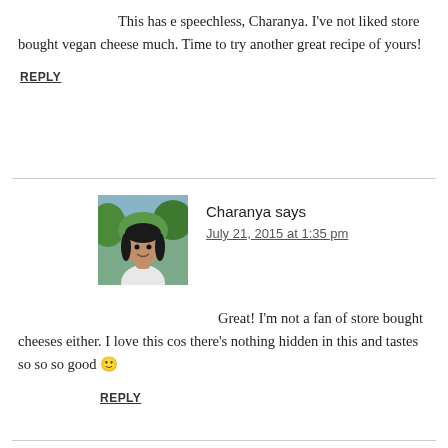This has e speechless, Charanya. I've not liked store bought vegan cheese much. Time to try another great recipe of yours!
REPLY
Charanya says
July 21, 2015 at 1:35 pm
[Figure (photo): Profile photo of Charanya, a woman with dark hair smiling, green foliage in background]
Great! I'm not a fan of store bought cheeses either. I love this cos there's nothing hidden in this and tastes so so so good 🙂
REPLY